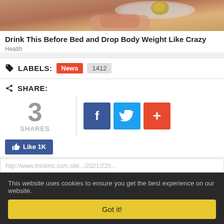[Figure (photo): Close-up photo of a hand holding a spoon with food item, cropped at top]
Drink This Before Bed and Drop Body Weight Like Crazy
Health
LABELS: News 1412
SHARE: 3 SHARES
Like 1K
This website uses cookies to ensure you get the best experience on our website.
Got it!